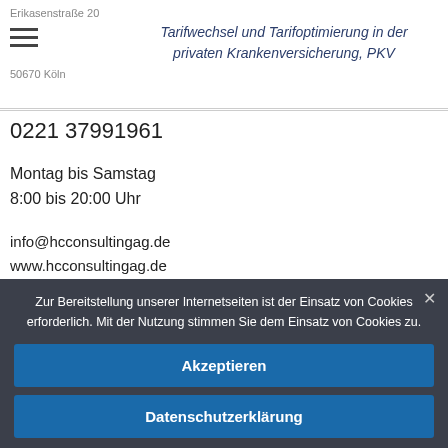Tarifwechsel und Tarifoptimierung in der privaten Krankenversicherung, PKV
Erikasenstraße 20
50670 Köln
0221 37991961
Montag bis Samstag
8:00 bis 20:00 Uhr
info@hcconsultingag.de
www.hcconsultingag.de
Zur Bereitstellung unserer Internetseiten ist der Einsatz von Cookies erforderlich. Mit der Nutzung stimmen Sie dem Einsatz von Cookies zu.
Akzeptieren
Datenschutzerklärung